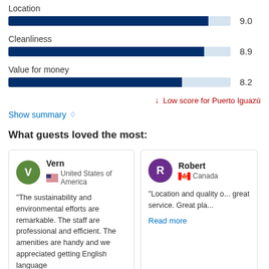Location
[Figure (bar-chart): Location]
Cleanliness
[Figure (bar-chart): Cleanliness]
Value for money
[Figure (bar-chart): Value for money]
Low score for Puerto Iguazú
Show summary ◇
What guests loved the most:
Vern
United States of America
"The sustainability and environmental efforts are remarkable. The staff are professional and efficient. The amenities are handy and we appreciated getting English language
Robert
Canada
"Location and quality o... great service. Great pla...
Read more